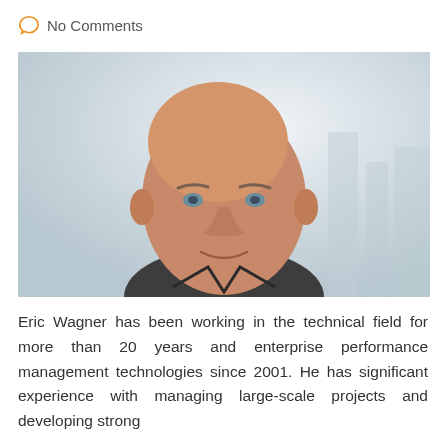No Comments
[Figure (photo): Professional headshot of Eric Wagner, a middle-aged bald man wearing a dark grey polo shirt, photographed against a bright blurred background with city buildings visible.]
Eric Wagner has been working in the technical field for more than 20 years and enterprise performance management technologies since 2001. He has significant experience with managing large-scale projects and developing strong